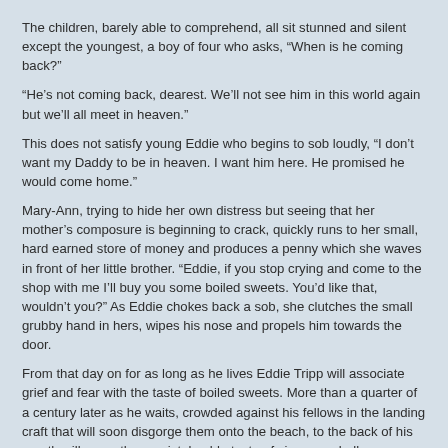The children, barely able to comprehend, all sit stunned and silent except the youngest, a boy of four who asks, “When is he coming back?”
“He’s not coming back, dearest. We’ll not see him in this world again but we’ll all meet in heaven.”
This does not satisfy young Eddie who begins to sob loudly, “I don’t want my Daddy to be in heaven. I want him here. He promised he would come home.”
Mary-Ann, trying to hide her own distress but seeing that her mother’s composure is beginning to crack, quickly runs to her small, hard earned store of money and produces a penny which she waves in front of her little brother. “Eddie, if you stop crying and come to the shop with me I’ll buy you some boiled sweets. You’d like that, wouldn’t you?” As Eddie chokes back a sob, she clutches the small grubby hand in hers, wipes his nose and propels him towards the door.
From that day on for as long as he lives Eddie Tripp will associate grief and fear with the taste of boiled sweets. More than a quarter of a century later as he waits, crowded against his fellows in the landing craft that will soon disgorge them onto the beach, to the back of his mouth will come the unmistakeable taste of cinnamon balls.